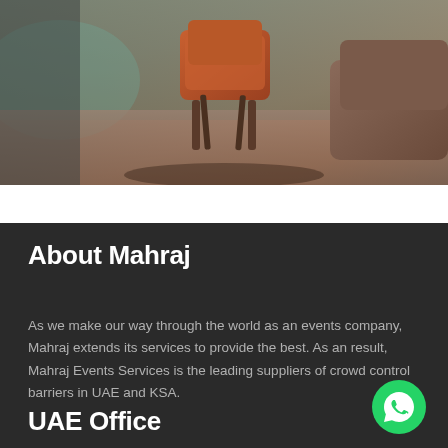[Figure (photo): Interior photo showing chairs and furniture in a warm-toned room, partially cropped at bottom]
About Mahraj
As we make our way through the world as an events company, Mahraj extends its services to provide the best. As an result, Mahraj Events Services is the leading suppliers of crowd control barriers in UAE and KSA.
UAE Office
[Figure (logo): Green circular WhatsApp button with phone/chat icon]